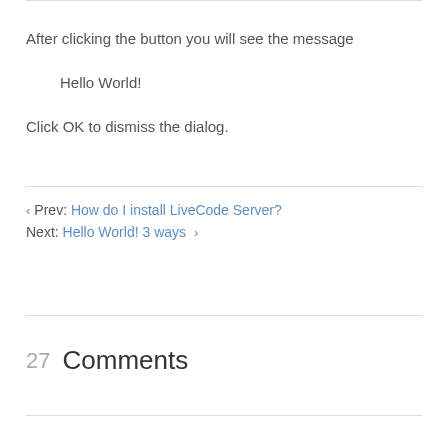After clicking the button you will see the message
Hello World!
Click OK to dismiss the dialog.
‹ Prev: How do I install LiveCode Server?
Next: Hello World! 3 ways ›
27  Comments